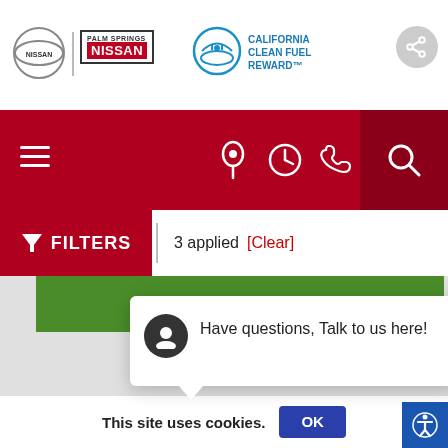[Figure (screenshot): Palm Springs Nissan dealership website screenshot showing header with Nissan logo, Palm Springs Nissan logo, California Clean Fuel Reward logo, navigation bar in dark red with hamburger menu and icons, filters bar showing 3 applied with Clear link, a green GET FINANCED bar, a chat popup saying 'Have questions, Talk to us here!', a green CALL US bar with chat bubble icon, bottom navigation icons, and a cookie consent bar.]
PALM SPRINGS NISSAN
CALIFORNIA CLEAN FUEL REWARD™
FILTERS
3 applied  [Clear]
GET FINANCED
Have questions, Talk to us here!
POWERED BY
CALL US
This site uses cookies.
OK